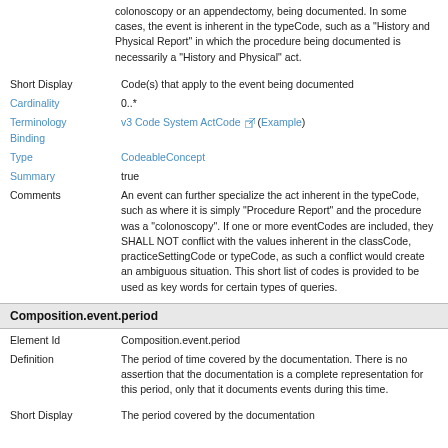colonoscopy or an appendectomy, being documented. In some cases, the event is inherent in the typeCode, such as a "History and Physical Report" in which the procedure being documented is necessarily a "History and Physical" act.
Short Display: Code(s) that apply to the event being documented
Cardinality: 0..*
Terminology Binding: v3 Code System ActCode (Example)
Type: CodeableConcept
Summary: true
Comments: An event can further specialize the act inherent in the typeCode, such as where it is simply "Procedure Report" and the procedure was a "colonoscopy". If one or more eventCodes are included, they SHALL NOT conflict with the values inherent in the classCode, practiceSettingCode or typeCode, as such a conflict would create an ambiguous situation. This short list of codes is provided to be used as key words for certain types of queries.
Composition.event.period
Element Id: Composition.event.period
Definition: The period of time covered by the documentation. There is no assertion that the documentation is a complete representation for this period, only that it documents events during this time.
Short Display: The period covered by the documentation